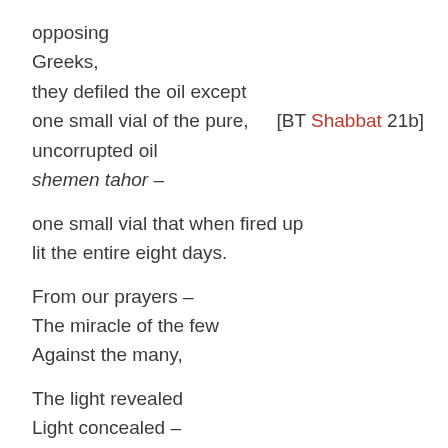opposing
Greeks,
they defiled the oil except
one small vial of the pure,    [BT Shabbat 21b]
uncorrupted oil
shemen tahor –

one small vial that when fired up
lit the entire eight days.

From our prayers –
The miracle of the few
Against the many,

The light revealed
Light concealed –